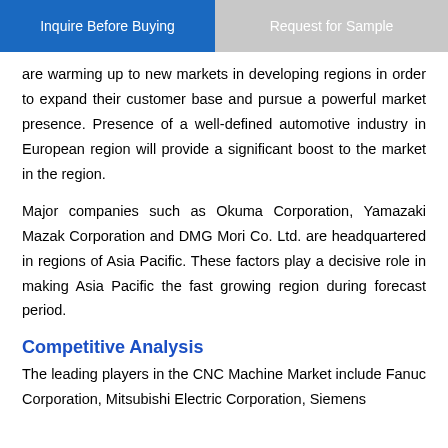Inquire Before Buying | Request for Sample
are warming up to new markets in developing regions in order to expand their customer base and pursue a powerful market presence. Presence of a well-defined automotive industry in European region will provide a significant boost to the market in the region.
Major companies such as Okuma Corporation, Yamazaki Mazak Corporation and DMG Mori Co. Ltd. are headquartered in regions of Asia Pacific. These factors play a decisive role in making Asia Pacific the fast growing region during forecast period.
Competitive Analysis
The leading players in the CNC Machine Market include Fanuc Corporation, Mitsubishi Electric Corporation, Siemens